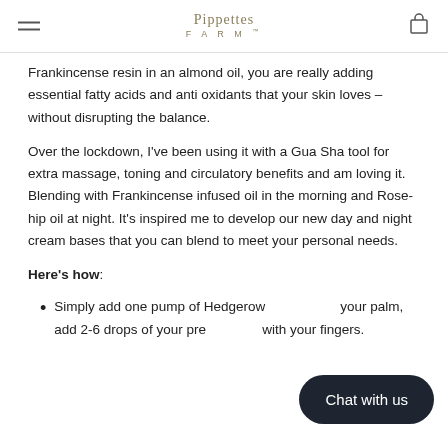Pippettes FARM
Frankincense resin in an almond oil, you are really adding essential fatty acids and anti oxidants that your skin loves – without disrupting the balance.
Over the lockdown, I've been using it with a Gua Sha tool for extra massage, toning and circulatory benefits and am loving it. Blending with Frankincense infused oil in the morning and Rose-hip oil at night. It's inspired me to develop our new day and night cream bases that you can blend to meet your personal needs.
Here's how:
Simply add one pump of Hedgerow ... your palm, add 2-6 drops of your pre... with your fingers.